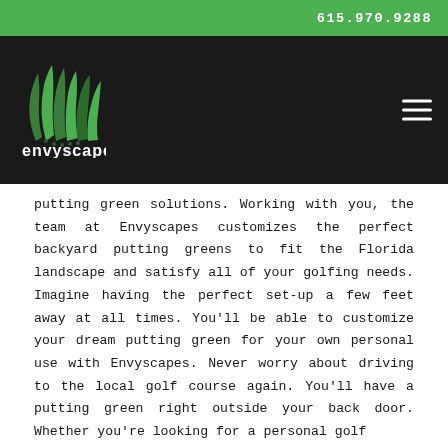615.970.9288
[Figure (logo): Envyscapes logo — stylized green grass/plant graphic above the text 'envyscapes' in white rounded font on dark background]
putting green solutions. Working with you, the team at Envyscapes customizes the perfect backyard putting greens to fit the Florida landscape and satisfy all of your golfing needs. Imagine having the perfect set-up a few feet away at all times. You'll be able to customize your dream putting green for your own personal use with Envyscapes. Never worry about driving to the local golf course again. You'll have a putting green right outside your back door. Whether you're looking for a personal golf